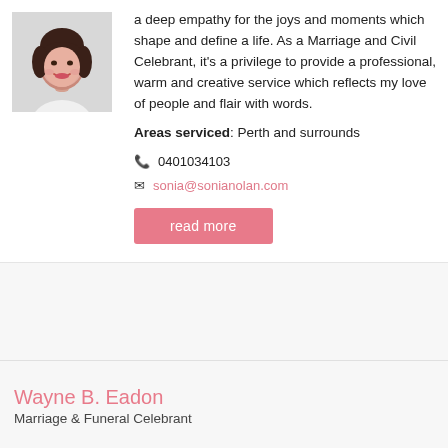[Figure (photo): Headshot photo of a woman with short dark hair, wearing a white top, smiling, on a light background.]
a deep empathy for the joys and moments which shape and define a life. As a Marriage and Civil Celebrant, it's a privilege to provide a professional, warm and creative service which reflects my love of people and flair with words.
Areas serviced: Perth and surrounds
0401034103
sonia@sonianolan.com
read more
Wayne B. Eadon
Marriage & Funeral Celebrant